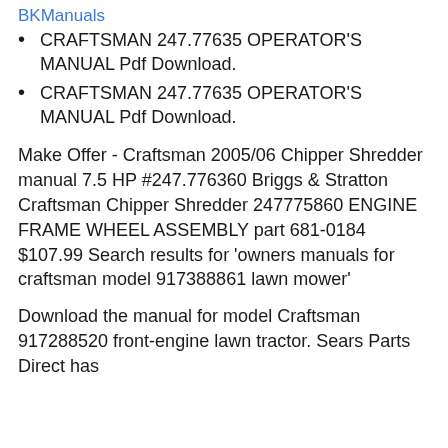BKManuals
CRAFTSMAN 247.77635 OPERATOR'S MANUAL Pdf Download.
CRAFTSMAN 247.77635 OPERATOR'S MANUAL Pdf Download.
Make Offer - Craftsman 2005/06 Chipper Shredder manual 7.5 HP #247.776360 Briggs & Stratton Craftsman Chipper Shredder 247775860 ENGINE FRAME WHEEL ASSEMBLY part 681-0184 $107.99 Search results for 'owners manuals for craftsman model 917388861 lawn mower'
Download the manual for model Craftsman 917288520 front-engine lawn tractor. Sears Parts Direct has